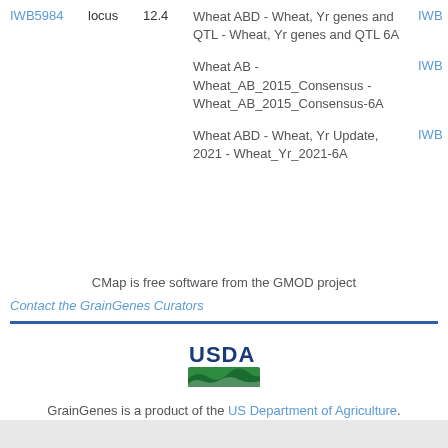IWB5984  locus  12.4
Wheat ABD - Wheat, Yr genes and QTL - Wheat, Yr genes and QTL 6A
IWB...
Wheat AB - Wheat_AB_2015_Consensus - Wheat_AB_2015_Consensus-6A
IWB...
Wheat ABD - Wheat, Yr Update, 2021 - Wheat_Yr_2021-6A
IWB...
CMap is free software from the GMOD project
Contact the GrainGenes Curators
[Figure (logo): USDA logo with green landscape bar]
GrainGenes is a product of the US Department of Agriculture.